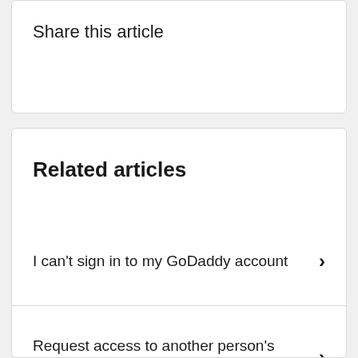Share this article
Related articles
I can't sign in to my GoDaddy account
Request access to another person's GoDaddy account